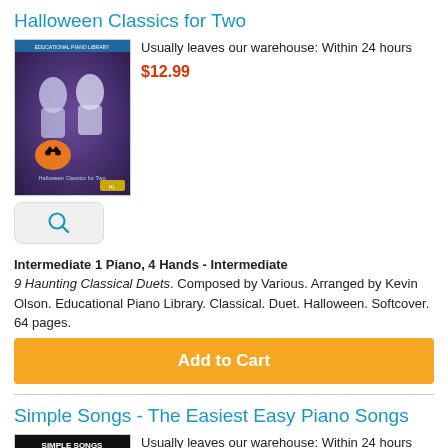Halloween Classics for Two
Usually leaves our warehouse: Within 24 hours
$12.99
[Figure (photo): Book cover for Halloween Classics for Two showing two ghostly figures and a jack-o-lantern on a dark background]
[Figure (other): Magnify/search button icon]
Intermediate 1 Piano, 4 Hands - Intermediate
9 Haunting Classical Duets. Composed by Various. Arranged by Kevin Olson. Educational Piano Library. Classical. Duet. Halloween. Softcover. 64 pages.
Add to Cart
Simple Songs - The Easiest Easy Piano Songs
Usually leaves our warehouse: Within 24 hours
$16.99
[Figure (photo): Book cover for Simple Songs - The Easiest Easy Piano Songs showing piano keys on black background with orange bottom stripe]